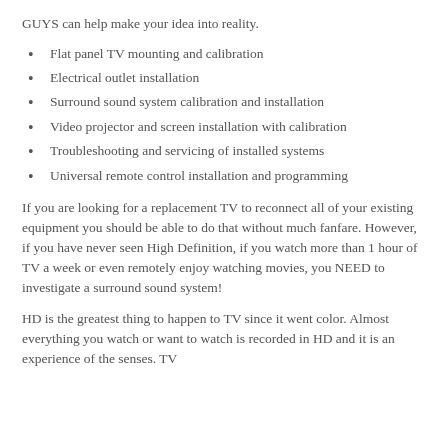GUYS can help make your idea into reality.
Flat panel TV mounting and calibration
Electrical outlet installation
Surround sound system calibration and installation
Video projector and screen installation with calibration
Troubleshooting and servicing of installed systems
Universal remote control installation and programming
If you are looking for a replacement TV to reconnect all of your existing equipment you should be able to do that without much fanfare. However, if you have never seen High Definition, if you watch more than 1 hour of TV a week or even remotely enjoy watching movies, you NEED to investigate a surround sound system!
HD is the greatest thing to happen to TV since it went color. Almost everything you watch or want to watch is recorded in HD and it is an experience of the senses. TV